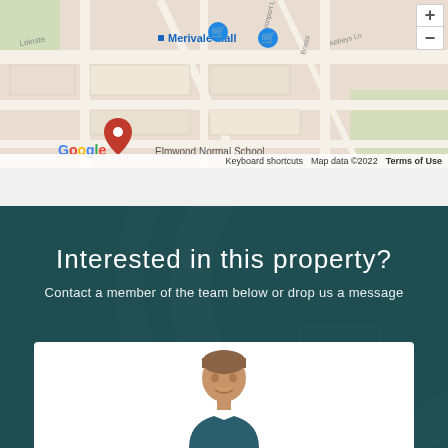[Figure (map): Google Maps screenshot showing Merivale Mall area with Elmwood Normal School marked, with map controls (+ and -), showing streets including Leinster, Devonport Lane, Bristol, Abbeys Lane. Map data ©2022. Keyboard shortcuts and Terms of Use links visible.]
Interested in this property?
Contact a member of the team below or drop us a message
[Figure (photo): Photo of a smiling male real estate agent with short brown hair, cropped to show head and upper shoulders, set inside a white card panel at the bottom of the dark teal section.]